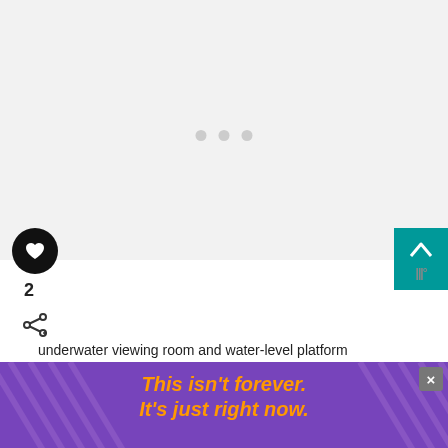[Figure (photo): Placeholder image area with loading dots, light gray background]
underwater viewing room and water-level platform
WHAT'S NEXT → Pacific Whale Foundation...
A highlight of Tasman Venture is their water level … at
[Figure (infographic): Advertisement banner: 'This isn't forever. It's just right now.' with purple background and orange text, close button (×)]